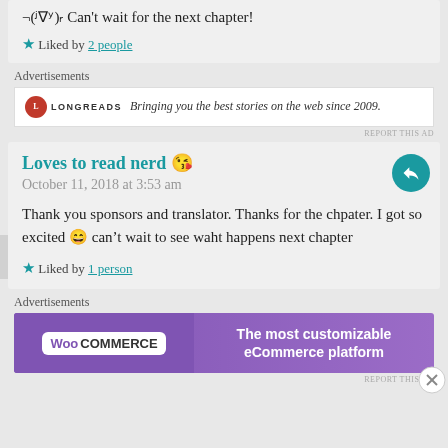¬(ʲ∇ʸ)ᵣCan't wait for the next chapter!
★ Liked by 2 people
Advertisements
[Figure (other): Longreads advertisement: logo with red circle L, text LONGREADS, tagline 'Bringing you the best stories on the web since 2009.']
REPORT THIS AD
Loves to read nerd 😘
October 11, 2018 at 3:53 am
Thank you sponsors and translator. Thanks for the chpater. I got so excited 😄 can't wait to see waht happens next chapter
★ Liked by 1 person
Advertisements
[Figure (other): WooCommerce advertisement: purple banner with WooCommerce logo on left and text 'The most customizable eCommerce platform' on right]